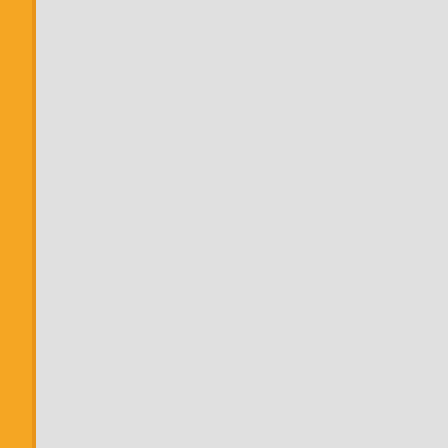| # | Date | Title |
| --- | --- | --- |
| 820. | 05/08/2015 | Question Bo... Engineering-... |
| 821. | 05/08/2015 | Question Bo... Engineering-... |
| 822. | 05/08/2015 | Question Bo... |
| 823. | 05/08/2015 | Question Bo... |
| 824. | 05/08/2015 | Question Bo... 2015 |
| 825. | 05/08/2015 | Question Bo... Studies -201... |
| 826. | 05/08/2015 | Question Bo... |
| 827. | 05/08/2015 | Question Bo... Commerce-2... |
| 828. | 05/08/2015 | Question Bo... |
| 829. | 05/08/2015 | Question Bo... |
| 830. | 05/08/2015 | Question Bo... |
| 831. | 05/08/2015 | Question Bo... |
| 832. | 05/08/2015 | Question Bo... |
| 833. | 30/07/2015 | Answer keys... |